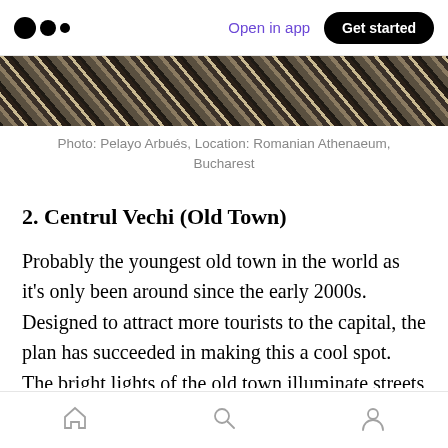Open in app | Get started
[Figure (photo): Partial view of a decorative architectural ceiling or structure at the Romanian Athenaeum, Bucharest — black and tan patterned surface]
Photo: Pelayo Arbués, Location: Romanian Athenaeum, Bucharest
2. Centrul Vechi (Old Town)
Probably the youngest old town in the world as it's only been around since the early 2000s. Designed to attract more tourists to the capital, the plan has succeeded in making this a cool spot. The bright lights of the old town illuminate streets and streets of bars, restaurants, kebab shops, and pumping music, all housed in grand